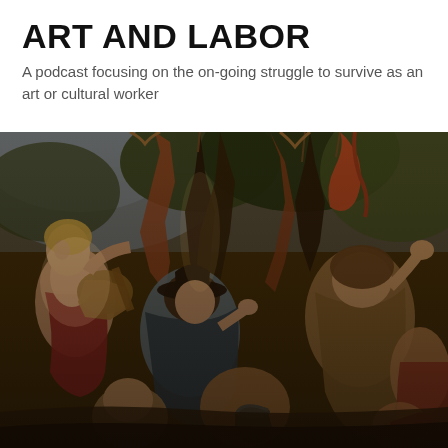ART AND LABOR
A podcast focusing on the on-going struggle to survive as an art or cultural worker
[Figure (illustration): A detail from a classical Renaissance or Baroque painting depicting mythological figures in a dramatic scene. Multiple figures including a woman in red playing a stringed instrument (lute) on the left, and various semi-nude or fur-clad figures in violent or dramatic poses. The painting is richly colored with dark, earthy tones of brown, gold, and deep red. The scene appears to depict the Flaying of Marsyas or a similar mythological subject.]